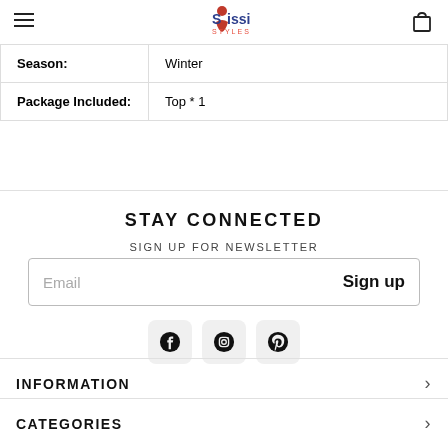Sissi Styles — navigation header with hamburger menu and cart icon
| Season: | Winter |
| Package Included: | Top * 1 |
STAY CONNECTED
SIGN UP FOR NEWSLETTER
Email  Sign up
[Figure (infographic): Social media icons for Facebook, Instagram, and Pinterest]
INFORMATION
CATEGORIES